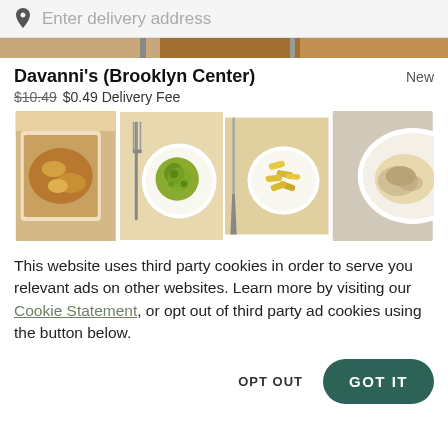Enter delivery address
Davanni's (Brooklyn Center)   New
$10.49 $0.49 Delivery Fee
[Figure (photo): Four pasta dish photos side by side: baked pasta, green rotini pasta with a fork, yellow penne pasta with a knife, and pasta with cream sauce]
This website uses third party cookies in order to serve you relevant ads on other websites. Learn more by visiting our Cookie Statement, or opt out of third party ad cookies using the button below.
OPT OUT   GOT IT